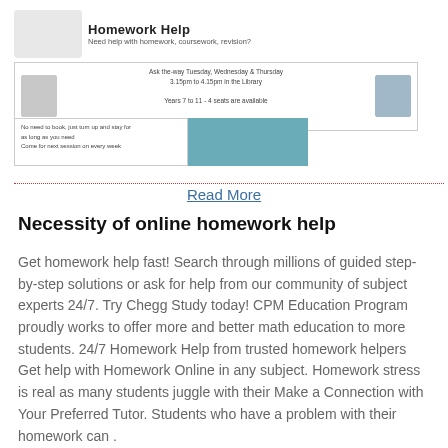[Figure (screenshot): Homework Help banner with logo box, student image, text about Tuesday Wednesday Thursday help sessions, and a call-to-action strip with a photo of students studying]
Read More
Necessity of online homework help
Get homework help fast! Search through millions of guided step-by-step solutions or ask for help from our community of subject experts 24/7. Try Chegg Study today! CPM Education Program proudly works to offer more and better math education to more students. 24/7 Homework Help from trusted homework helpers Get help with Homework Online in any subject. Homework stress is real as many students juggle with their Make a Connection with Your Preferred Tutor. Students who have a problem with their homework can .